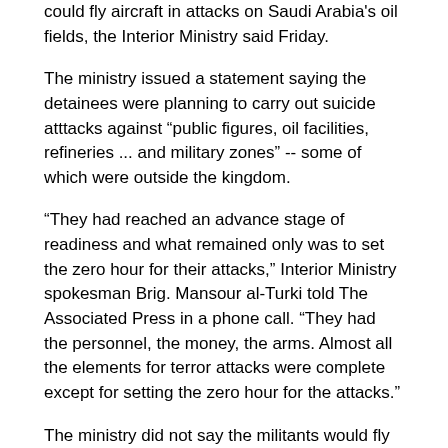could fly aircraft in attacks on Saudi Arabia's oil fields, the Interior Ministry said Friday.
The ministry issued a statement saying the detainees were planning to carry out suicide atttacks against "public figures, oil facilities, refineries ... and military zones" -- some of which were outside the kingdom.
"They had reached an advance stage of readiness and what remained only was to set the zero hour for their attacks," Interior Ministry spokesman Brig. Mansour al-Turki told The Associated Press in a phone call. "They had the personnel, the money, the arms. Almost all the elements for terror attacks were complete except for setting the zero hour for the attacks."
The ministry did not say the militants would fly aircraft into oil refineries, as the September 11, 2001 hijackers flew planes into buildings in New York and Washington, but it said in a statement that some detainees had been "sent to other countries to study flying in preparation for using them to carry out terrorist attacks inside the kingdom."
The militants also planned to storm Saudi prisons to free the inmates, the statement said.